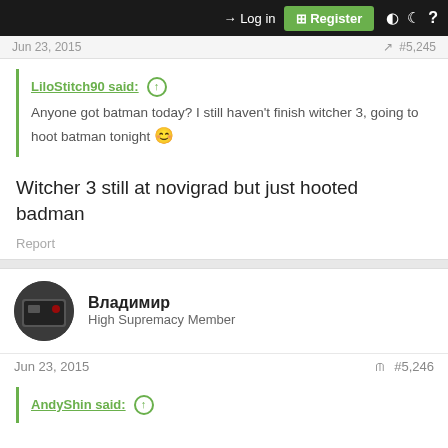Log in | Register
Jun 23, 2015   #5,245
LiloStitch90 said: Anyone got batman today? I still haven't finish witcher 3, going to hoot batman tonight 😊
Witcher 3 still at novigrad but just hooted badman
Report
Владимир
High Supremacy Member
Jun 23, 2015   #5,246
AndyShin said: